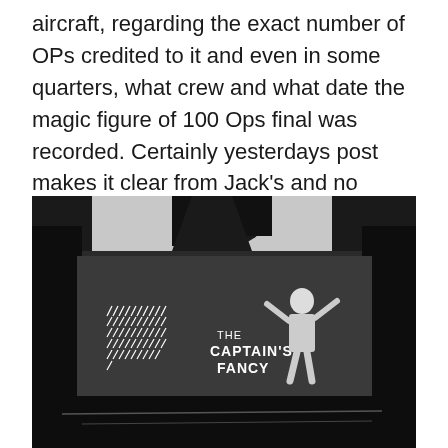aircraft, regarding the exact number of OPs credited to it and even in some quarters, what crew and what date the magic figure of 100 Ops final was recorded. Certainly yesterdays post makes it clear from Jack's and no doubt the entire Bailey crew that it was them!
[Figure (photo): Black and white photograph of a WWII-era bomber aircraft fuselage showing nose art. Visible are rows of mission tally marks on the left side and the name 'THE CAPTAIN'S FANCY' painted on the fuselage. A person is standing in front of the aircraft.]